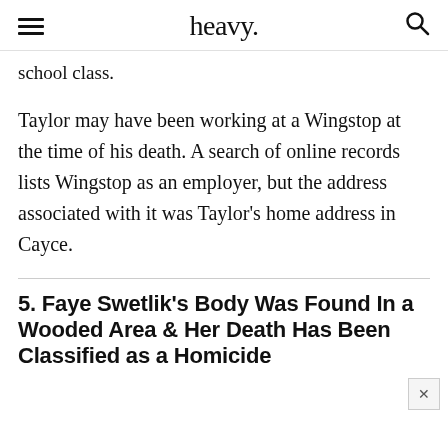heavy.
school class.
Taylor may have been working at a Wingstop at the time of his death. A search of online records lists Wingstop as an employer, but the address associated with it was Taylor’s home address in Cayce.
5. Faye Swetlik’s Body Was Found In a Wooded Area & Her Death Has Been Classified as a Homicide